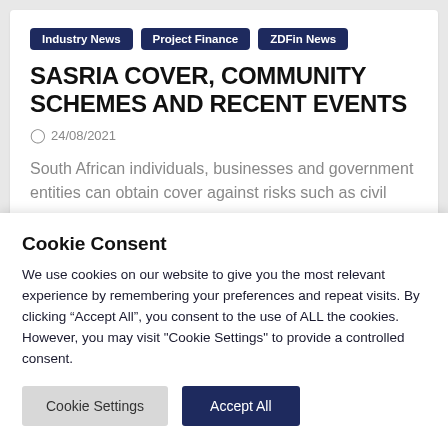Industry News | Project Finance | ZDFin News
SASRIA COVER, COMMUNITY SCHEMES AND RECENT EVENTS
24/08/2021
South African individuals, businesses and government entities can obtain cover against risks such as civil
Cookie Consent
We use cookies on our website to give you the most relevant experience by remembering your preferences and repeat visits. By clicking “Accept All”, you consent to the use of ALL the cookies. However, you may visit "Cookie Settings" to provide a controlled consent.
Cookie Settings | Accept All